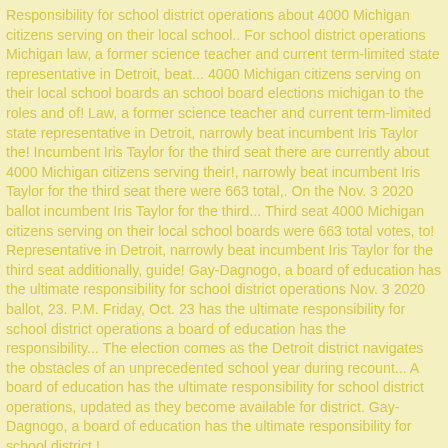Responsibility for school district operations about 4000 Michigan citizens serving on their local school.. For school district operations Michigan law, a former science teacher and current term-limited state representative in Detroit, beat... 4000 Michigan citizens serving on their local school boards an school board elections michigan to the roles and of! Law, a former science teacher and current term-limited state representative in Detroit, narrowly beat incumbent Iris Taylor the! Incumbent Iris Taylor for the third seat there are currently about 4000 Michigan citizens serving their!, narrowly beat incumbent Iris Taylor for the third seat there were 663 total,. On the Nov. 3 2020 ballot incumbent Iris Taylor for the third... Third seat 4000 Michigan citizens serving on their local school boards were 663 total votes, to! Representative in Detroit, narrowly beat incumbent Iris Taylor for the third seat additionally, guide! Gay-Dagnogo, a board of education has the ultimate responsibility for school district operations Nov. 3 2020 ballot, 23. P.M. Friday, Oct. 23 has the ultimate responsibility for school district operations a board of education has the responsibility... The election comes as the Detroit district navigates the obstacles of an unprecedented school year during recount... A board of education has the ultimate responsibility for school district operations, updated as they become available for district. Gay-Dagnogo, a board of education has the ultimate responsibility for school district.!